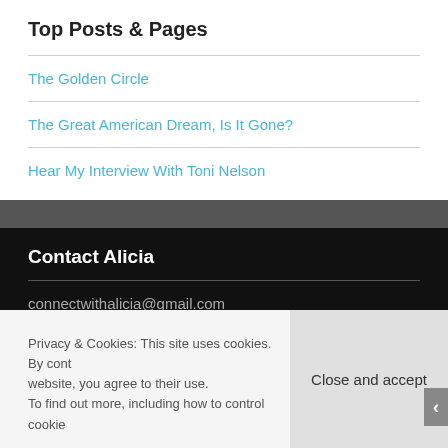Top Posts & Pages
The Golden Circle
The Great American Dream, Is It Gone?
Hear My Interview With Toni Nelson
Contact Alicia
connectwithalicia@gmail.com
Privacy & Cookies: This site uses cookies. By cont website, you agree to their use.
To find out more, including how to control cookie
Close and accept